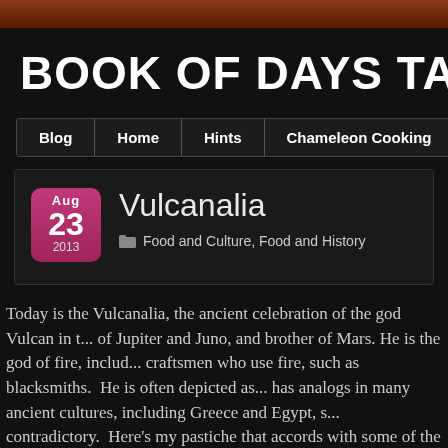BOOK OF DAYS TALES
Blog | Home | Hints | Chameleon Cooking
Vulcanalia
Food and Culture, Food and History
Today is the Vulcanalia, the ancient celebration of the god Vulcan in t... of Jupiter and Juno, and brother of Mars. He is the god of fire, includ... craftsmen who use fire, such as blacksmiths.  He is often depicted as... has analogs in many ancient cultures, including Greece and Egypt, s... contradictory.  Here's my pastiche that accords with some of the thre... deformed and brutal (especially in his sexuality), yet capable of prod... for the gods, exquisite jewelry, and powerful weapons. As such he...